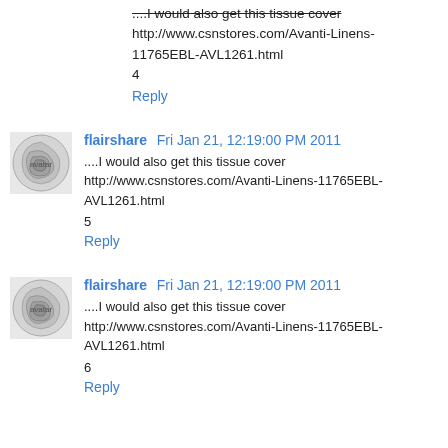....I would also get this tissue cover http://www.csnstores.com/Avanti-Linens-11765EBL-AVL1261.html
4
Reply
flairshare  Fri Jan 21, 12:19:00 PM 2011
....I would also get this tissue cover http://www.csnstores.com/Avanti-Linens-11765EBL-AVL1261.html
5
Reply
flairshare  Fri Jan 21, 12:19:00 PM 2011
....I would also get this tissue cover http://www.csnstores.com/Avanti-Linens-11765EBL-AVL1261.html
6
Reply